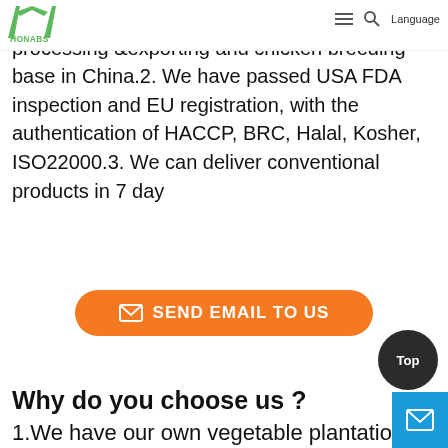HONABS [logo] (hamburger) (search) Language
plantation base from planting& cultivation to processing &exporting and chicken breeding base in China.2. We have passed USA FDA inspection and EU registration, with the authentication of HACCP, BRC, Halal, Kosher, ISO22000.3. We can deliver conventional products in 7 day
[Figure (other): Orange rounded rectangle button with envelope icon and text 'SEND EMAIL TO US']
Why do you choose us ?
1.We have our own vegetable plantation base from